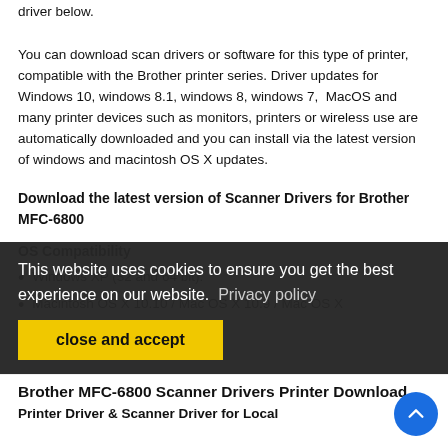driver below.
You can download scan drivers or software for this type of printer, compatible with the Brother printer series. Driver updates for Windows 10, windows 8.1, windows 8, windows 7, MacOS and many printer devices such as monitors, printers or wireless use are automatically downloaded and you can install via the latest version of windows and macintosh OS X updates.
Download the latest version of Scanner Drivers for Brother MFC-6800
OS Compatibility
Windows XP (32 and 64 bit).
Macintosh OS X 10.10 / Mac OS X 10.9 / Mac OS X 10.8 / Mac OS X 10.7.
This website uses cookies to ensure you get the best experience on our website.  Privacy policy
close and accept
Brother MFC-6800 Scanner Drivers Printer Download
Printer Driver & Scanner Driver for Local